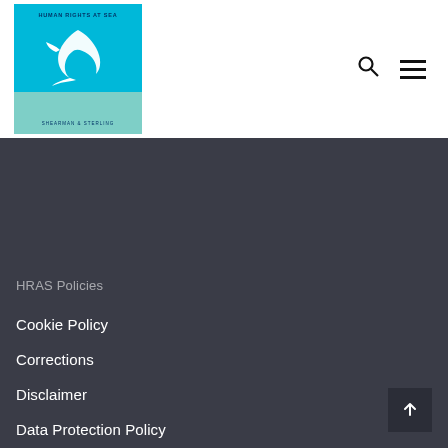[Figure (logo): Human Rights at Sea logo with white bird/hand silhouette on teal background, Shearman & Sterling branding at bottom]
HRAS Policies
Cookie Policy
Corrections
Disclaimer
Data Protection Policy
Terms of Use